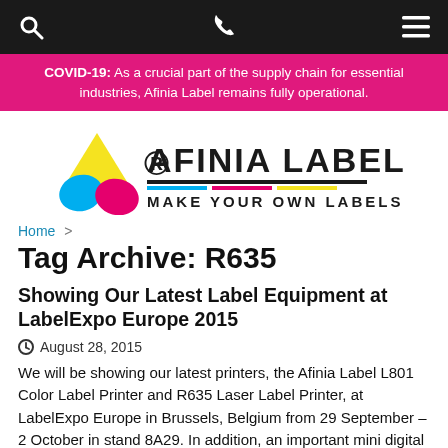Navigation bar with search, phone, and menu icons
COVID-19: As a crucial part of the supply chain for essential industries, Afinia Label remains fully operational.
[Figure (logo): Afinia Label logo with colorful triangle icon and text MAKE YOUR OWN LABELS]
Home >
Tag Archive: R635
Showing Our Latest Label Equipment at LabelExpo Europe 2015
August 28, 2015
We will be showing our latest printers, the Afinia Label L801 Color Label Printer and R635 Laser Label Printer, at LabelExpo Europe in Brussels, Belgium from 29 September – 2 October in stand 8A29. In addition, an important mini digital label press (DLP-2000), finishing system (DLF-1000), and a new label applicator (A300) will